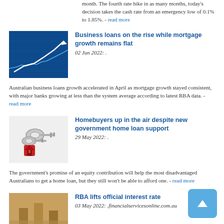month. The fourth rate hike in as many months, today's decision takes the cash rate from an emergency low of 0.1% to 1.85%. - read more
[Figure (photo): Stock market chart with upward trend arrow on blue digital background]
Business loans on the rise while mortgage growth remains flat
02 Jun 2022: .
Australian business loans growth accelerated in April as mortgage growth stayed consistent, with major banks growing at less than the system average according to latest RBA data. - read more
[Figure (photo): House keys with red house-shaped keyring on white background]
Homebuyers up in the air despite new government home loan support
29 May 2022: .
The government's promise of an equity contribution will help the most disadvantaged Australians to get a home loan, but they still won't be able to afford one. - read more
[Figure (photo): Abstract financial background with warm tones]
RBA lifts official interest rate
03 May 2022: .financialservicesonline.com.au